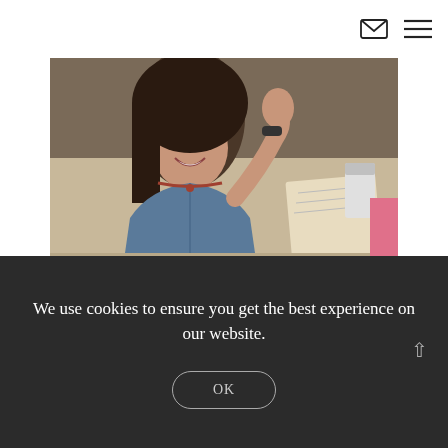[Figure (photo): A woman with dark hair sitting at a restaurant or café table, smiling and raising her fist. She is wearing a denim jacket and a beaded necklace. There is an open notebook and a drink cup visible in the background.]
New Influences Are The Key To Happiness
MARCH 7, 2016
We use cookies to ensure you get the best experience on our website.
OK